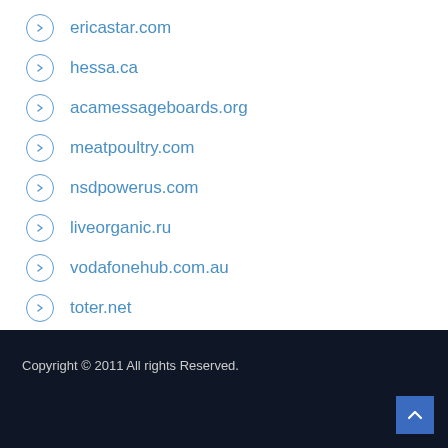ericastar.com
hessa.ca
acamessageboards.org
meatpoultry.com
nsdpowerus.com
liveorganic.ru
vodafonehub.com.au
toter.net
google.com.tw
Copyright © 2011 All rights Reserved.